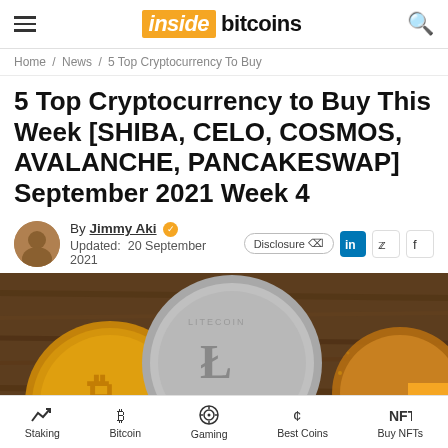inside bitcoins
Home / News / 5 Top Cryptocurrency To Buy
5 Top Cryptocurrency to Buy This Week [SHIBA, CELO, COSMOS, AVALANCHE, PANCAKESWAP] September 2021 Week 4
By Jimmy Aki ✓ Updated: 20 September 2021
[Figure (photo): Cryptocurrency coins including Bitcoin and Litecoin on a wooden surface]
Staking | Bitcoin | Gaming | Best Coins | Buy NFTs